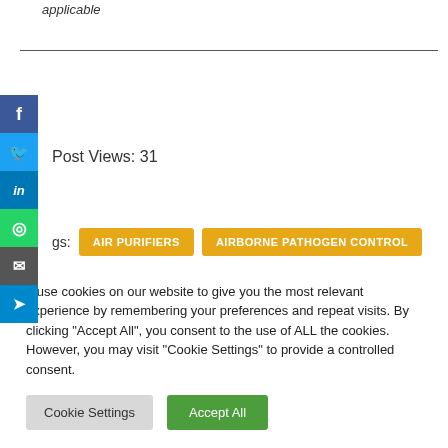applicable
Post Views: 31
Tags:
AIR PURIFIERS
AIRBORNE PATHOGEN CONTROL
We use cookies on our website to give you the most relevant experience by remembering your preferences and repeat visits. By clicking "Accept All", you consent to the use of ALL the cookies. However, you may visit "Cookie Settings" to provide a controlled consent.
Cookie Settings
Accept All